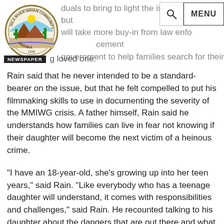duals to bring to light the issue of MMIWG, but will take more buy-in from law enforcement and government to help families search for their missing loved one.
Rain said that he never intended to be a standard-bearer on the issue, but that he felt compelled to put his filmmaking skills to use in documenting the severity of the MMIWG crisis. A father himself, Rain said he understands how families can live in fear not knowing if their daughter will become the next victim of a heinous crime.
"I have an 18-year-old, she's growing up into her teen years," said Rain. "Like everybody who has a teenage daughter will understand, it comes with responsibilities and challenges," said Rain. He recounted talking to his daughter about the dangers that are out there and what can happen if she finds